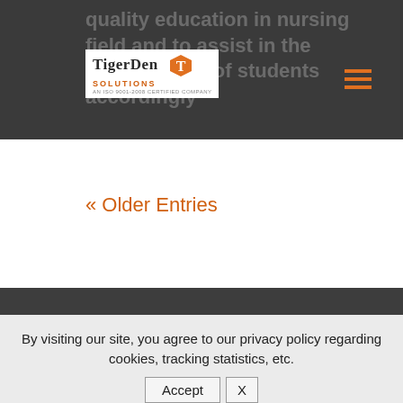[Figure (logo): TigerDen Solutions logo with orange T icon, white background, ISO 9001-2008 certified company text]
quality education in nursing field and to assist in the development of students accordingly
« Older Entries
By visiting our site, you agree to our privacy policy regarding cookies, tracking statistics, etc.